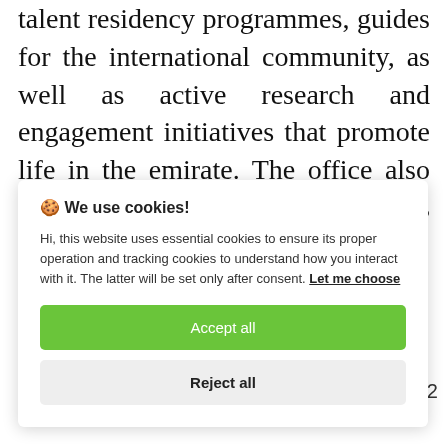talent residency programmes, guides for the international community, as well as active research and engagement initiatives that promote life in the emirate. The office also advocates for international residents and actively
[Figure (screenshot): Cookie consent popup overlay with title '🍪 We use cookies!', body text about essential and tracking cookies, a 'Let me choose' link, an 'Accept all' green button, and a 'Reject all' grey button.]